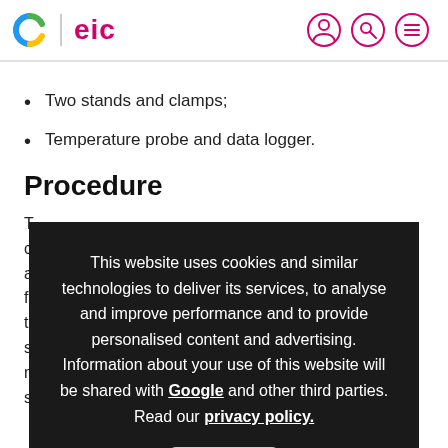C | eic [with navigation icons: user, search, menu]
Two stands and clamps;
Temperature probe and data logger.
Procedure
T... cu... al... d fo... th... h sh... f m... su...
This website uses cookies and similar technologies to deliver its services, to analyse and improve performance and to provide personalised content and advertising. Information about your use of this website will be shared with Google and other third parties. Read our privacy policy. OK